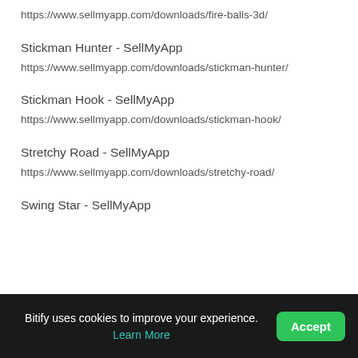https://www.sellmyapp.com/downloads/fire-balls-3d/
Stickman Hunter - SellMyApp
https://www.sellmyapp.com/downloads/stickman-hunter/
Stickman Hook - SellMyApp
https://www.sellmyapp.com/downloads/stickman-hook/
Stretchy Road - SellMyApp
https://www.sellmyapp.com/downloads/stretchy-road/
Swing Star - SellMyApp
Bitify uses cookies to improve your experience. Learn More
Accept